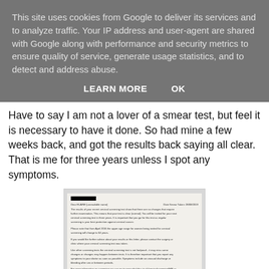This site uses cookies from Google to deliver its services and to analyze traffic. Your IP address and user-agent are shared with Google along with performance and security metrics to ensure quality of service, generate usage statistics, and to detect and address abuse.
LEARN MORE    OK
Have to say I am not a lover of a smear test, but feel it is necessary to have it done. So had mine a few weeks back, and got the results back saying all clear. That is me for three years unless I spot any symptoms.
[Figure (photo): A photograph of a medical letter showing cervical screening results with personal details redacted (blacked out). The letter appears to be from the NHS cervical screening programme informing the recipient that their results show no changes requiring further examination.]